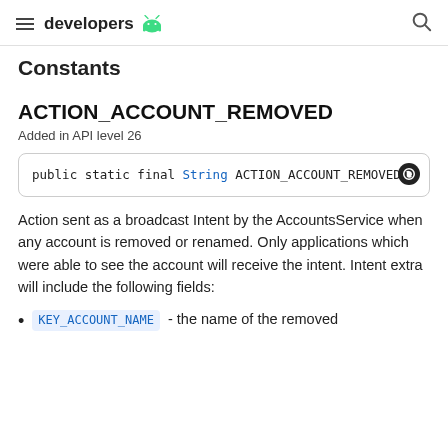developers
Constants
ACTION_ACCOUNT_REMOVED
Added in API level 26
Action sent as a broadcast Intent by the AccountsService when any account is removed or renamed. Only applications which were able to see the account will receive the intent. Intent extra will include the following fields:
KEY_ACCOUNT_NAME - the name of the removed